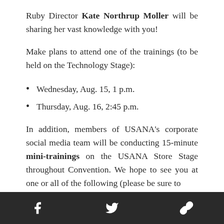Ruby Director Kate Northrup Moller will be sharing her vast knowledge with you!
Make plans to attend one of the trainings (to be held on the Technology Stage):
Wednesday, Aug. 15, 1 p.m.
Thursday, Aug. 16, 2:45 p.m.
In addition, members of USANA’s corporate social media team will be conducting 15-minute mini-trainings on the USANA Store Stage throughout Convention. We hope to see you at one or all of the following (please be sure to
Social media share bar with Facebook, Twitter, and link icons